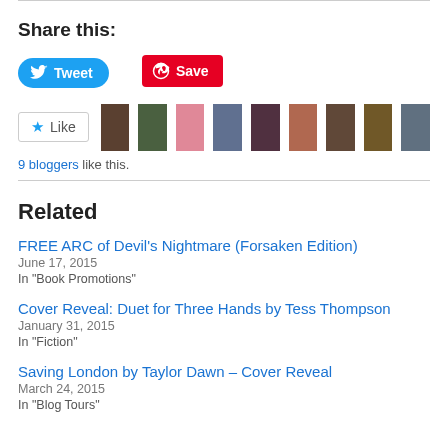Share this:
[Figure (other): Tweet button (Twitter/X blue rounded button) and Save button (Pinterest red button)]
[Figure (other): Like button with star icon and 9 blogger avatar thumbnails]
9 bloggers like this.
Related
FREE ARC of Devil’s Nightmare (Forsaken Edition)
June 17, 2015
In "Book Promotions"
Cover Reveal: Duet for Three Hands by Tess Thompson
January 31, 2015
In "Fiction"
Saving London by Taylor Dawn – Cover Reveal
March 24, 2015
In "Blog Tours"